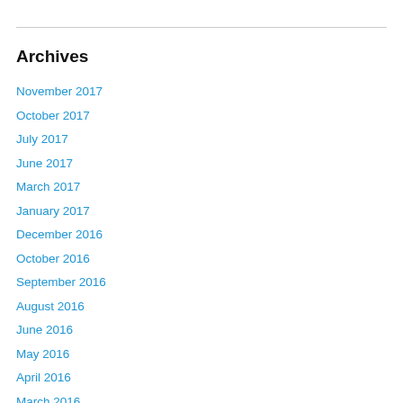Archives
November 2017
October 2017
July 2017
June 2017
March 2017
January 2017
December 2016
October 2016
September 2016
August 2016
June 2016
May 2016
April 2016
March 2016
February 2016
January 2016